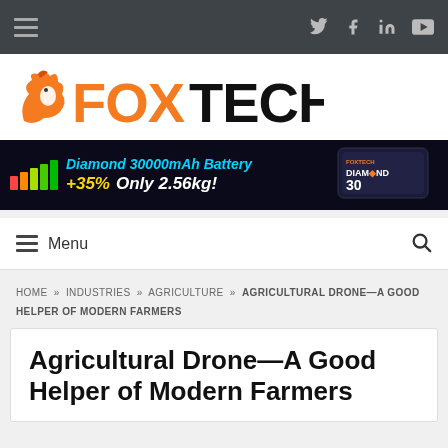FOXTECH - top navigation bar with hamburger menu and social icons (Twitter, Facebook, LinkedIn, YouTube)
[Figure (logo): FOXTECH logo - orange fox icon with orange FOX text and black TECH text]
[Figure (infographic): Advertisement banner: Diamond 30000mAh Battery +35% Only 2.56kg! with battery product image on dark background]
Menu (navigation bar with hamburger icon and search icon)
HOME » INDUSTRIES » AGRICULTURE » AGRICULTURAL DRONE—A GOOD HELPER OF MODERN FARMERS
Agricultural Drone—A Good Helper of Modern Farmers